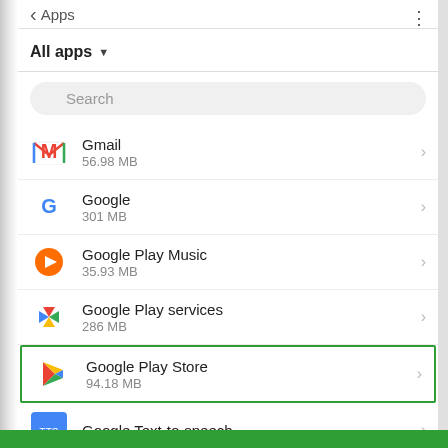Apps
All apps ▾
Search
Gmail
56.98 MB
Google
301 MB
Google Play Music
35.93 MB
Google Play services
286 MB
Google Play Store
94.18 MB
Google Text-to-speech